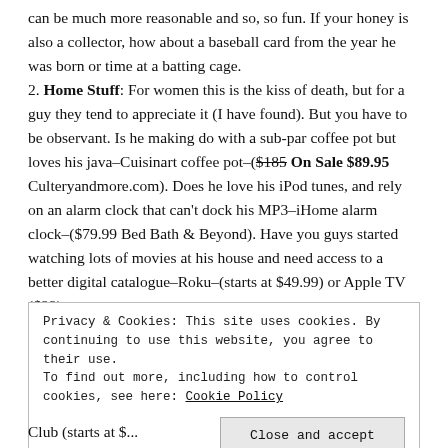can be much more reasonable and so, so fun. If your honey is also a collector, how about a baseball card from the year he was born or time at a batting cage. 2. Home Stuff: For women this is the kiss of death, but for a guy they tend to appreciate it (I have found). But you have to be observant. Is he making do with a sub-par coffee pot but loves his java–Cuisinart coffee pot–($185 On Sale $89.95 Culteryandmore.com). Does he love his iPod tunes, and rely on an alarm clock that can't dock his MP3–iHome alarm clock–($79.99 Bed Bath & Beyond). Have you guys started watching lots of movies at his house and need access to a better digital catalogue–Roku–(starts at $49.99) or Apple TV ($99).
Privacy & Cookies: This site uses cookies. By continuing to use this website, you agree to their use.
To find out more, including how to control cookies, see here: Cookie Policy
Close and accept
Club (starts at $...